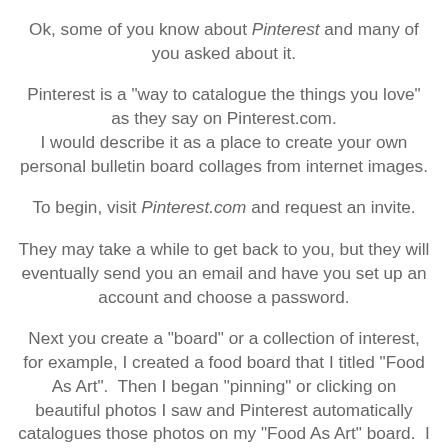Ok, some of you know about Pinterest and many of you asked about it.
Pinterest is a "way to catalogue the things you love" as they say on Pinterest.com. I would describe it as a place to create your own personal bulletin board collages from internet images.
To begin, visit Pinterest.com and request an invite.
They may take a while to get back to you, but they will eventually send you an email and have you set up an account and choose a password.
Next you create a "board" or a collection of interest, for example, I created a food board that I titled "Food As Art". Then I began "pinning" or clicking on beautiful photos I saw and Pinterest automatically catalogues those photos on my "Food As Art" board. I can create as many different